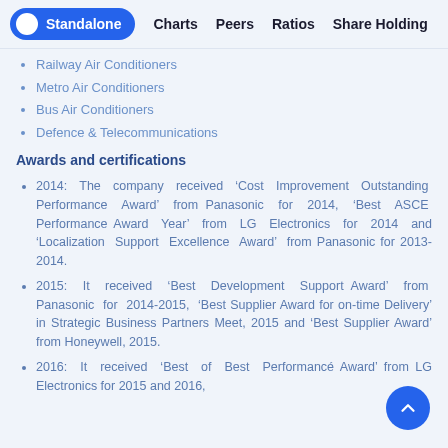Standalone   Charts   Peers   Ratios   Share Holding
Railway Air Conditioners
Metro Air Conditioners
Bus Air Conditioners
Defence & Telecommunications
Awards and certifications
2014: The company received ‘Cost Improvement Outstanding Performance Award’ from Panasonic for 2014, ‘Best ASCE Performance Award Year’ from LG Electronics for 2014 and ‘Localization Support Excellence Award’ from Panasonic for 2013-2014.
2015: It received ‘Best Development Support Award’ from Panasonic for 2014-2015, ‘Best Supplier Award for on-time Delivery’ in Strategic Business Partners Meet, 2015 and ‘Best Supplier Award’ from Honeywell, 2015.
2016: It received ‘Best of Best Performance Award’ from LG Electronics for 2015 and 2016,